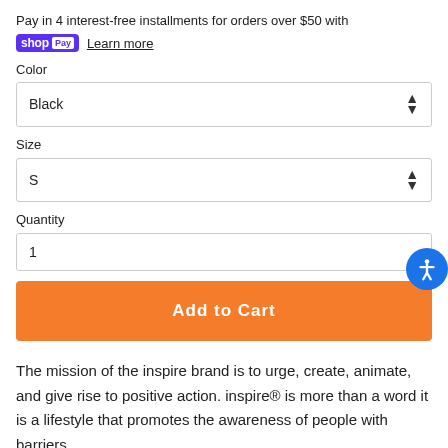Pay in 4 interest-free installments for orders over $50 with
shopPay  Learn more
Color
Black
Size
S
Quantity
1
Add to Cart
The mission of the inspire brand is to urge, create, animate, and give rise to positive action. inspire® is more than a word it is a lifestyle that promotes the awareness of people with barriers.